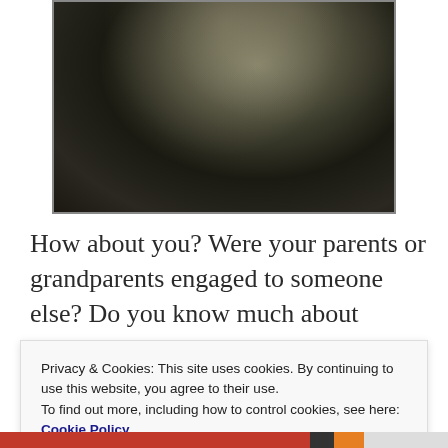[Figure (photo): Old black-and-white photograph showing the lower bodies of people standing outdoors in a garden or yard setting. The photo appears aged and worn, with characteristic sepia tones.]
How about you? Were your parents or grandparents engaged to someone else? Do you know much about them?
Privacy & Cookies: This site uses cookies. By continuing to use this website, you agree to their use.
To find out more, including how to control cookies, see here: Cookie Policy
Close and accept